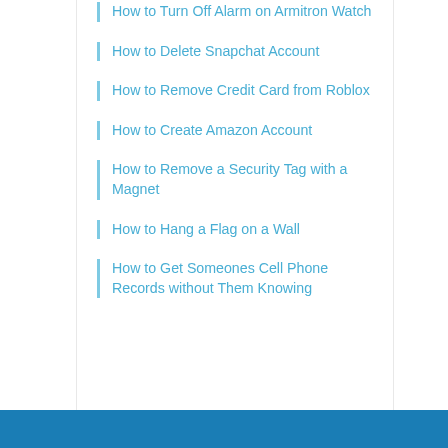How to Turn Off Alarm on Armitron Watch
How to Delete Snapchat Account
How to Remove Credit Card from Roblox
How to Create Amazon Account
How to Remove a Security Tag with a Magnet
How to Hang a Flag on a Wall
How to Get Someones Cell Phone Records without Them Knowing